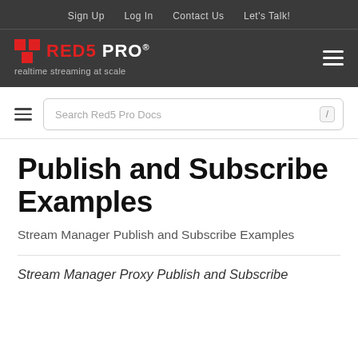Sign Up  Log In  Contact Us  Let's Talk!
[Figure (logo): Red5 Pro logo with red icon and white text on dark background, with tagline 'realtime streaming at scale']
Search Red5 Pro Docs
Publish and Subscribe Examples
Stream Manager Publish and Subscribe Examples
Stream Manager Proxy Publish and Subscribe